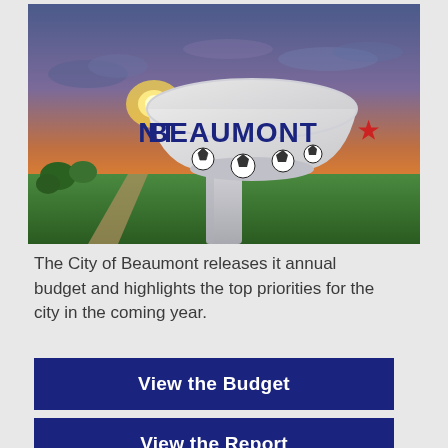[Figure (photo): Aerial photo of a large water tower labeled BEAUMONT with a red star, at sunset. Green fields and a road visible below. Soccer ball graphics on the tank.]
The City of Beaumont releases it annual budget and highlights the top priorities for the city in the coming year.
View the Budget
View the Report